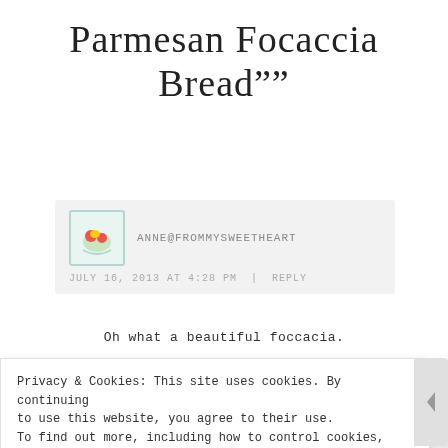Parmesan Focaccia Bread""
ANNE@FROMMYSWEETHEART
JULY 16, 2013 AT 4:28 PM | REPLY
Oh what a beautiful foccacia.
Privacy & Cookies: This site uses cookies. By continuing to use this website, you agree to their use. To find out more, including how to control cookies, see here: Cookie Policy
Close and accept